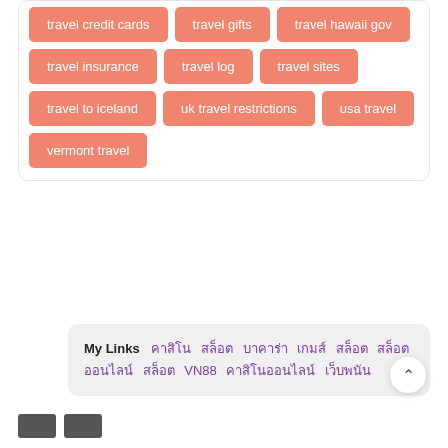travel credit cards
travel gifts
travel hawaii gov
travel insurance
travel log
travel sites
travel to iceland
uk travel restrictions
usa travel
vermont travel
My Links  คาสิโน สล็อต บาคาร่า เกมส์ สล็อต สล็อตออนไลน์ สล็อต VN88 คาสิโนออนไลน์ เว็บพนัน